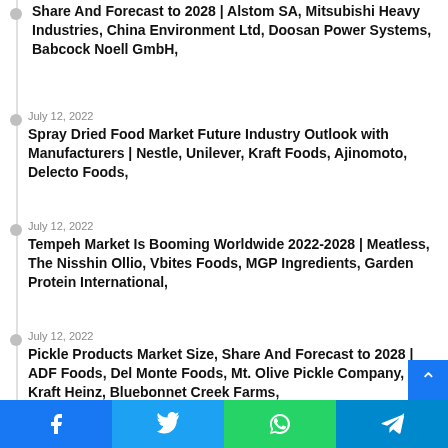Share And Forecast to 2028 | Alstom SA, Mitsubishi Heavy Industries, China Environment Ltd, Doosan Power Systems, Babcock Noell GmbH,
July 12, 2022
Spray Dried Food Market Future Industry Outlook with Manufacturers | Nestle, Unilever, Kraft Foods, Ajinomoto, Delecto Foods,
July 12, 2022
Tempeh Market Is Booming Worldwide 2022-2028 | Meatless, The Nisshin Ollio, Vbites Foods, MGP Ingredients, Garden Protein International,
July 12, 2022
Pickle Products Market Size, Share And Forecast to 2028 | ADF Foods, Del Monte Foods, Mt. Olive Pickle Company, Kraft Heinz, Bluebonnet Creek Farms,
July 12, 2022
Freeze-Dried Foods Market Size, Share And Forecast to 2028 | Nestle, Kerry, Unilever, Wattie’s (Heinz), DS